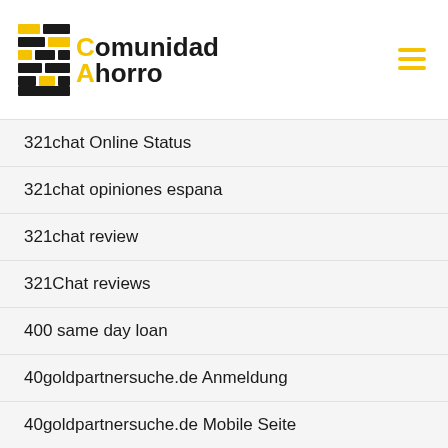Comunidad Ahorro
321chat Online Status
321chat opiniones espana
321chat review
321Chat reviews
400 same day loan
40goldpartnersuche.de Anmeldung
40goldpartnersuche.de Mobile Seite
40goldpartnersuche.de Was ist es
420 Dating online
420 Dating review
420 Dating Singleseiten
420 Dating un service